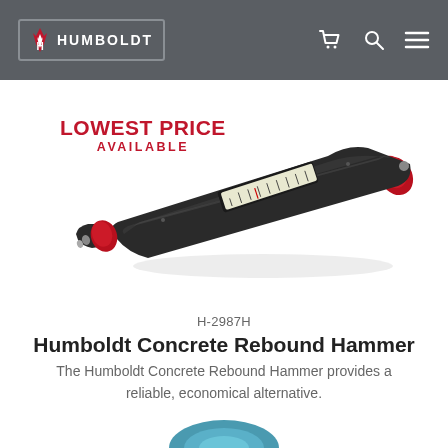HUMBOLDT
[Figure (photo): Humboldt Concrete Rebound Hammer product photo — a black cylindrical device with red end caps and a measurement scale window, shown diagonally with 'LOWEST PRICE AVAILABLE' label overlay]
H-2987H
Humboldt Concrete Rebound Hammer
The Humboldt Concrete Rebound Hammer provides a reliable, economical alternative.
[Figure (photo): Partial view of another product at bottom of page (blue/teal colored)]